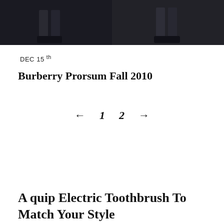[Figure (photo): Two fashion photographs side by side showing models from the waist down wearing dark trousers and shoes against a dark background]
DEC 15th
Burberry Prorsum Fall 2010
← 1 2 →
A quip Electric Toothbrush To Match Your Style